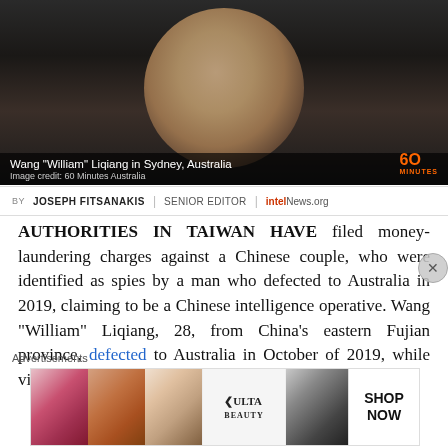[Figure (photo): Wang 'William' Liqiang photographed in a dark setting wearing glasses, appearing serious. Screenshot from 60 Minutes Australia.]
Wang "William" Liqiang in Sydney, Australia
Image credit: 60 Minutes Australia
BY JOSEPH FITSANAKIS | SENIOR EDITOR | intelNews.org
AUTHORITIES IN TAIWAN HAVE filed money-laundering charges against a Chinese couple, who were identified as spies by a man who defected to Australia in 2019, claiming to be a Chinese intelligence operative. Wang "William" Liqiang, 28, from China's eastern Fujian province, defected to Australia in October of 2019, while visiting hi
Advertisements
[Figure (photo): ULTA Beauty advertisement banner showing makeup and eye closeups with Shop Now button]